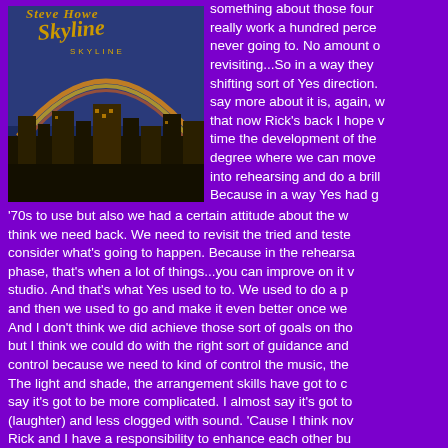[Figure (photo): Album cover for 'Skyline' showing a cityscape silhouette at dusk with a rainbow arching over buildings against a blue-purple sky. The band name appears in stylized gold lettering at the top.]
something about those four really work a hundred percent never going to. No amount of revisiting...So in a way they d shifting sort of Yes direction. say more about it is, again, w that now Rick's back I hope w time the development of the degree where we can move into rehearsing and do a brill Because in a way Yes had g '70s to use but also we had a certain attitude about the w think we need back. We need to revisit the tried and teste consider what's going to happen. Because in the rehearsa phase, that's when a lot of things...you can improve on it v studio. And that's what Yes used to to. We used to do a p and then we used to go and make it even better once we And I don't think we did achieve those sort of goals on tho but I think we could do with the right sort of guidance and control because we need to kind of control the music, the The light and shade, the arrangement skills have got to c say it's got to be more complicated. I almost say it's got to (laughter) and less clogged with sound. 'Cause I think nov Rick and I have a responsibility to enhance each other bu of each other and enhance each other and I think that's o